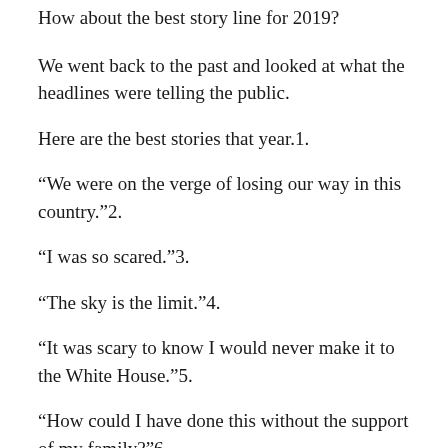How about the best story line for 2019?
We went back to the past and looked at what the headlines were telling the public.
Here are the best stories that year.1.
“We were on the verge of losing our way in this country.”2.
“I was so scared.”3.
“The sky is the limit.”4.
“It was scary to know I would never make it to the White House.”5.
“How could I have done this without the support of my family?”6.